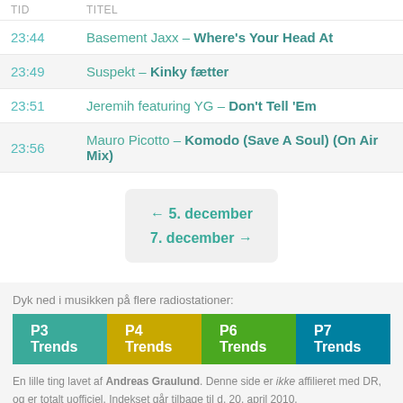| TID | TITEL |
| --- | --- |
| 23:44 | Basement Jaxx – Where's Your Head At |
| 23:49 | Suspekt – Kinky fætter |
| 23:51 | Jeremih featuring YG – Don't Tell 'Em |
| 23:56 | Mauro Picotto – Komodo (Save A Soul) (On Air Mix) |
← 5. december
7. december →
Dyk ned i musikken på flere radiostationer:
[Figure (infographic): Row of radio station trend buttons: P3 Trends (teal), P4 Trends (yellow), P6 Trends (green), P7 Trends (dark teal)]
En lille ting lavet af Andreas Graulund. Denne side er ikke affilieret med DR, og er totalt uofficiel. Indekset går tilbage til d. 20. april 2010.
Totale daglige afspilninger    Mest spillede sange i alt